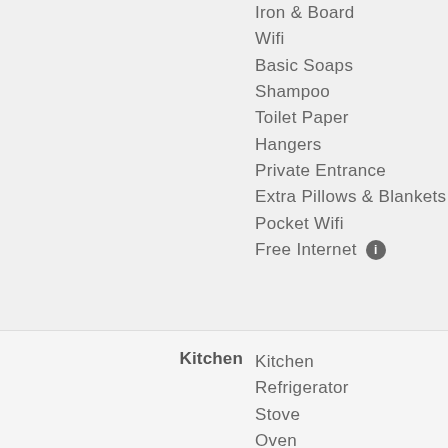Iron & Board
Wifi
Basic Soaps
Shampoo
Toilet Paper
Hangers
Private Entrance
Extra Pillows & Blankets
Pocket Wifi
Free Internet
Kitchen
Kitchen
Refrigerator
Stove
Oven
Microwave
Dishwasher
Dishes & Utensils
Coffee Maker